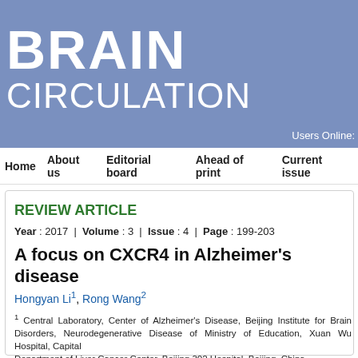[Figure (logo): Brain Circulation journal header banner with blue background and white text logo]
Users Online:
Home | About us | Editorial board | Ahead of print | Current issue
REVIEW ARTICLE
Year : 2017  |  Volume : 3  |  Issue : 4  |  Page : 199-203
A focus on CXCR4 in Alzheimer's disease
Hongyan Li1, Rong Wang2
1 Central Laboratory, Center of Alzheimer's Disease, Beijing Institute for Brain Disorders, Neurodegenerative Disease of Ministry of Education, Xuan Wu Hospital, Capital Department of Liver Cancer Center, Beijing 302 Hospital, Beijing, China